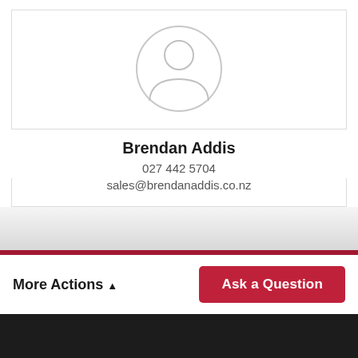[Figure (illustration): Generic user avatar placeholder — a circular silhouette of a person (head and shoulders) with a light gray outline on white background]
Brendan Addis
027 442 5704
sales@brendanaddis.co.nz
More Actions ▲
Ask a Question
©2021 - 2022 BRENDAN ADDIS LIMITED | POWERED BY [m] MOTORCENTRAL